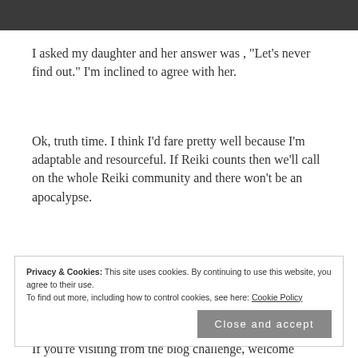[Figure (photo): Dark gray/charcoal header image banner at top of page]
I asked my daughter and her answer was , "Let's never find out." I'm inclined to agree with her.
Ok, truth time. I think I'd fare pretty well because I'm adaptable and resourceful. If Reiki counts then we'll call on the whole Reiki community and there won't be an apocalypse.
Ha!
Privacy & Cookies: This site uses cookies. By continuing to use this website, you agree to their use.
To find out more, including how to control cookies, see here: Cookie Policy
If you're visiting from the blog challenge, welcome